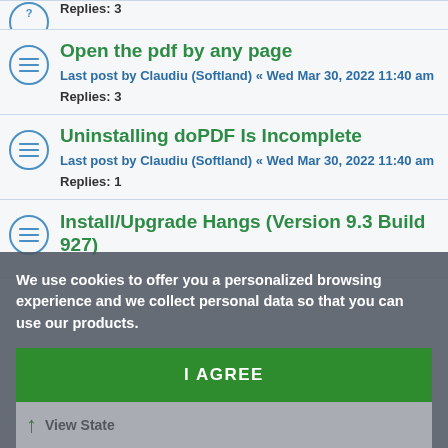Replies: 3
Open the pdf by any page
Last post by Claudiu (Softland) « Wed Mar 30, 2022 11:40 am
Replies: 3
Uninstalling doPDF Is Incomplete
Last post by Claudiu (Softland) « Wed Mar 30, 2022 11:40 am
Replies: 1
Install/Upgrade Hangs (Version 9.3 Build 927)
We use cookies to offer you a personalized browsing experience and we collect personal data so that you can use our products.
I AGREE
READ MORE